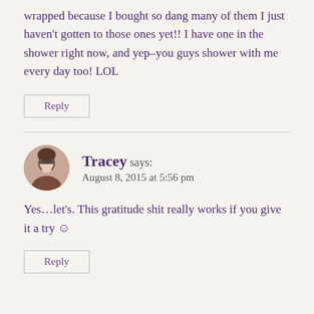wrapped because I bought so dang many of them I just haven't gotten to those ones yet!! I have one in the shower right now, and yep–you guys shower with me every day too! LOL
Reply
Tracey says:
August 8, 2015 at 5:56 pm
Yes…let's. This gratitude shit really works if you give it a try ☺
Reply